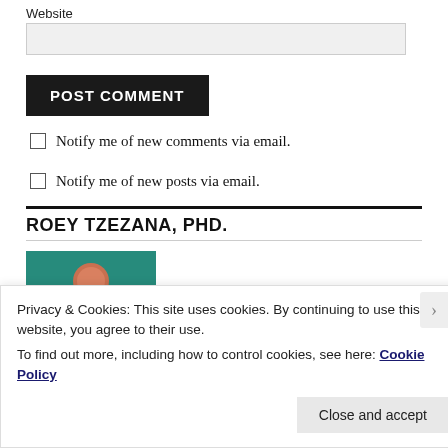Website
POST COMMENT
Notify me of new comments via email.
Notify me of new posts via email.
ROEY TZEZANA, PHD.
[Figure (photo): Profile image with teal/green background]
Privacy & Cookies: This site uses cookies. By continuing to use this website, you agree to their use.
To find out more, including how to control cookies, see here: Cookie Policy
Close and accept